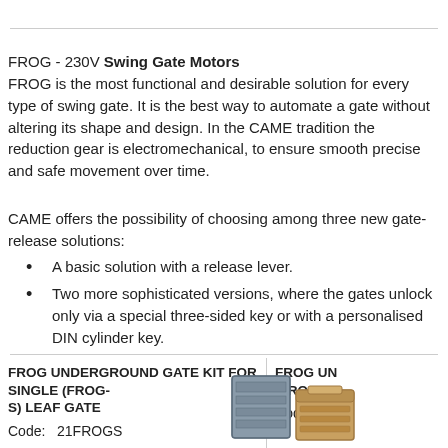FROG - 230V Swing Gate Motors
FROG is the most functional and desirable solution for every type of swing gate. It is the best way to automate a gate without altering its shape and design. In the CAME tradition the reduction gear is electromechanical, to ensure smooth precise and safe movement over time.
CAME offers the possibility of choosing among three new gate-release solutions:
A basic solution with a release lever.
Two more sophisticated versions, where the gates unlock only via a special three-sided key or with a personalised DIN cylinder key.
FROG UNDERGROUND GATE KIT FOR SINGLE (FROG-S) LEAF GATE
Code:  21FROGS
FROG UN (FROG-P)
Code:  21
[Figure (photo): Product image showing FROG underground gate kit components including motor housing and accessory box]